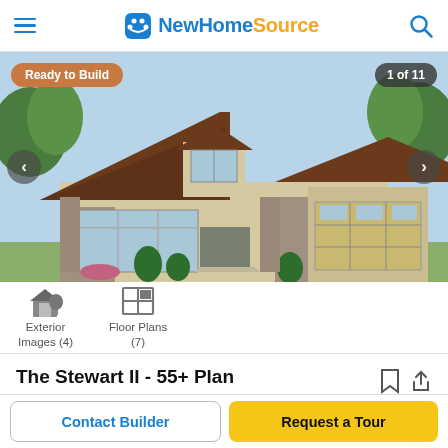NewHomeSource
[Figure (photo): Exterior rendering of a craftsman-style single-story home with brown roof, stone accents, large front windows, and two-car garage. Overlaid with 'Ready to Build' badge and '1 of 11' counter.]
Exterior Images (4)
Floor Plans (7)
The Stewart II - 55+ Plan
605 Vivaldi Dri, Middletown DE 19709
Contact Builder
Request a Tour